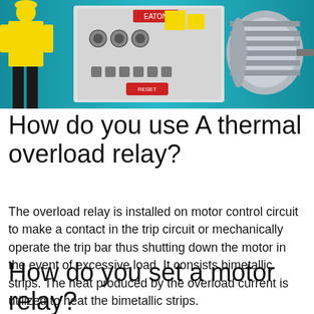[Figure (photo): Photo showing a person in yellow high-vis jacket and black pants standing near an Eaton thermal overload relay/contactor unit mounted on a panel, and a silver electric motor on the right, all against a teal/cyan background.]
How do you use A thermal overload relay?
The overload relay is installed on motor control circuit to make a contact in the trip circuit or mechanically operate the trip bar thus shutting down the motor in the event of excessive load. It consists bimetallic strips. The heat produced by the overload current is utilized to heat the bimetallic strips.
How do you set a motor relay?